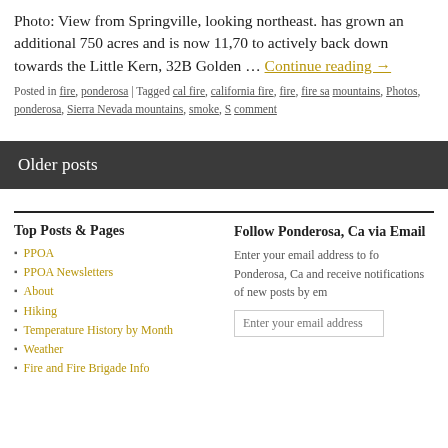Photo: View from Springville, looking northeast. has grown an additional 750 acres and is now 11,70 to actively back down towards the Little Kern, 32B Golden ... Continue reading →
Posted in fire, ponderosa | Tagged cal fire, california fire, fire, fire sa mountains, Photos, ponderosa, Sierra Nevada mountains, smoke, S comment
Older posts
Top Posts & Pages
PPOA
PPOA Newsletters
About
Hiking
Temperature History by Month
Weather
Fire and Fire Brigade Info
Follow Ponderosa, Ca via Email
Enter your email address to fo Ponderosa, Ca and receive notifications of new posts by em